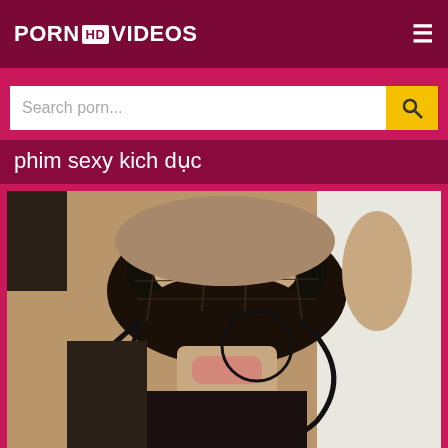PORN HD VIDEOS
Search porn...
phim sexy kich duc
[Figure (screenshot): Video player showing a masked woman, with playback controls showing 0:00 timestamp]
0:00